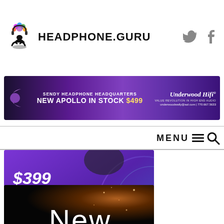[Figure (logo): Headphone.Guru logo with meditating figure wearing colorful headphones and site name HEADPHONE.GURU]
[Figure (infographic): Sendy Headphone Headquarters banner ad: NEW APOLLO IN STOCK $499 - Underwood HiFi, underwoodwally@aol.com | 770.667.5633]
MENU
[Figure (infographic): Purple advertisement banner: $399 DELIVERED ANYWHERE IN THE WORLD]
[Figure (infographic): Dark background advertisement showing the word 'New' in large white text]